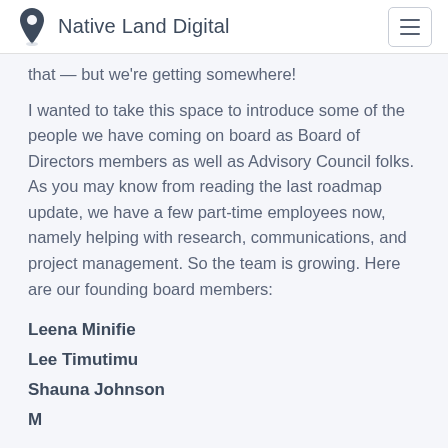Native Land Digital
that — but we're getting somewhere!
I wanted to take this space to introduce some of the people we have coming on board as Board of Directors members as well as Advisory Council folks. As you may know from reading the last roadmap update, we have a few part-time employees now, namely helping with research, communications, and project management. So the team is growing. Here are our founding board members:
Leena Minifie
Lee Timutimu
Shauna Johnson
Mandel Crampton (partial)